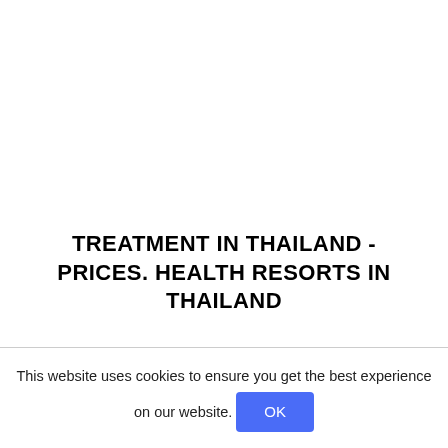TREATMENT IN THAILAND - PRICES. HEALTH RESORTS IN THAILAND
This website uses cookies to ensure you get the best experience on our website. OK